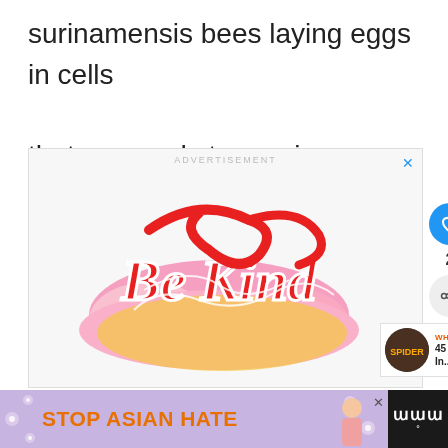surinamensis bees laying eggs in cells that are ready to receive eggs.
[Figure (advertisement): Advertisement banner with 'Be Kind' decorative lettering in red, pink, and yellow retro style, with close X button, heart/like button showing count 2, and share button]
[Figure (infographic): WHAT'S NEXT arrow with thumbnail and text '45 Common Spiders In...']
[Figure (advertisement): Bottom banner: 'STOP ASIAN HATE' text in orange on purple/lavender background with flower decorations and a person, with close X button; black section on right with stylized 'w' logo]